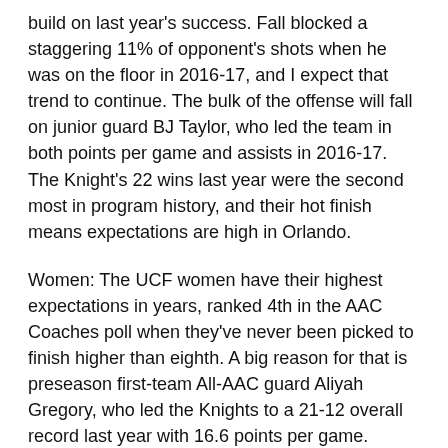build on last year's success. Fall blocked a staggering 11% of opponent's shots when he was on the floor in 2016-17, and I expect that trend to continue. The bulk of the offense will fall on junior guard BJ Taylor, who led the team in both points per game and assists in 2016-17. The Knight's 22 wins last year were the second most in program history, and their hot finish means expectations are high in Orlando.
Women: The UCF women have their highest expectations in years, ranked 4th in the AAC Coaches poll when they've never been picked to finish higher than eighth. A big reason for that is preseason first-team All-AAC guard Aliyah Gregory, who led the Knights to a 21-12 overall record last year with 16.6 points per game. Second-year head coach Katie Abrahamson-Henderson will have to find a way to replace their second-leading scorer, three-point sharpshooter Zykira Lewis, if UCF wants to live up to expectations in 2017.